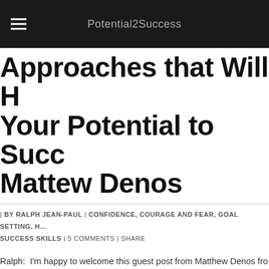Potential2Success
Approaches that Will Help Your Potential to Success - Mattew Denos
| BY RALPH JEAN-PAUL | CONFIDENCE, COURAGE AND FEAR, GOAL SETTING, H... SUCCESS SKILLS | 5 COMMENTS | SHARE
Ralph:  I'm happy to welcome this guest post from Matthew Denos fro... Weighlosstriumph.com.  This is an exceptional article!  It goes right al... philosophies and methods I talk about in some of articles on this site. ... look plays an important role in our confidence and our potential to suc... your workplace everyday, talking to a stranger or making a public spe... your body releases energy to conquer your day. Losing weight tops th... people than ever before. And people are, at...
Read More